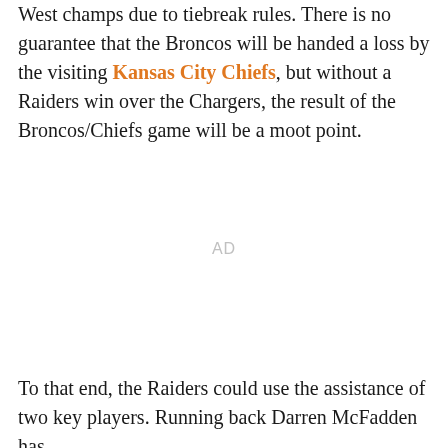West champs due to tiebreak rules. There is no guarantee that the Broncos will be handed a loss by the visiting Kansas City Chiefs, but without a Raiders win over the Chargers, the result of the Broncos/Chiefs game will be a moot point.
AD
To that end, the Raiders could use the assistance of two key players. Running back Darren McFadden has